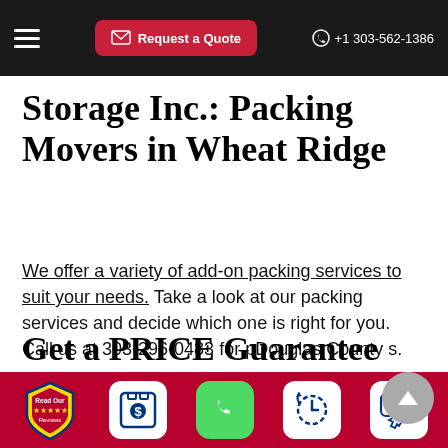Request a Quote | +1 303-562-1386
Storage Inc.: Packing Movers in Wheat Ridge
We offer a variety of add-on packing services to suit your needs. Take a look at our packing services and decide which one is right for you. Call us at 303-296-0483 for pDouglas County s.
Get a PRICE Guarantee for Wheat...
Read Our Reviews | [Dollar icon] | [Phone icon] | [Clock icon] | [Chat icon]